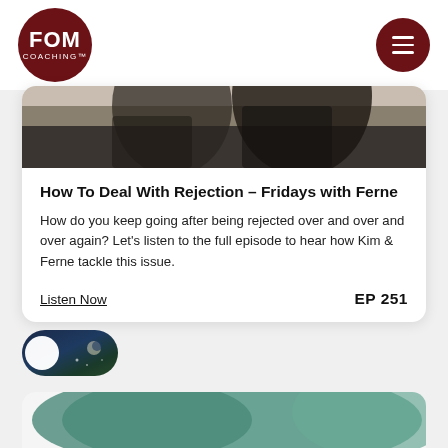[Figure (logo): FOM Coaching circular logo with dark red background and white text]
[Figure (illustration): Dark red circle with hamburger menu icon (three white horizontal lines)]
[Figure (photo): Partial photo showing two people in dark clothing at top of card]
How To Deal With Rejection – Fridays with Ferne
How do you keep going after being rejected over and over and over again? Let's listen to the full episode to hear how Kim & Ferne tackle this issue.
Listen Now
EP 251
[Figure (illustration): Dark blue/green toggle switch pill with white knob on left side]
[Figure (photo): Partial teal/green colored image at bottom of page (next card peek)]